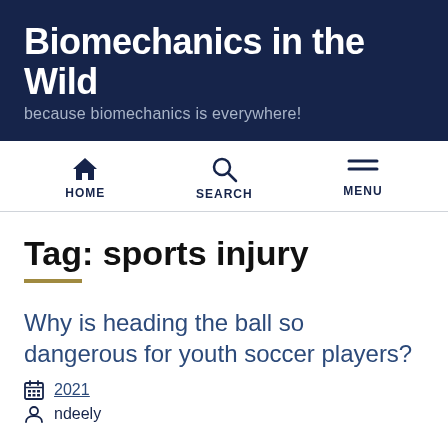Biomechanics in the Wild — because biomechanics is everywhere!
[Figure (infographic): Navigation bar with HOME (house icon), SEARCH (magnifying glass icon), and MENU (hamburger icon) links]
Tag: sports injury
Why is heading the ball so dangerous for youth soccer players?
2021
ndeely